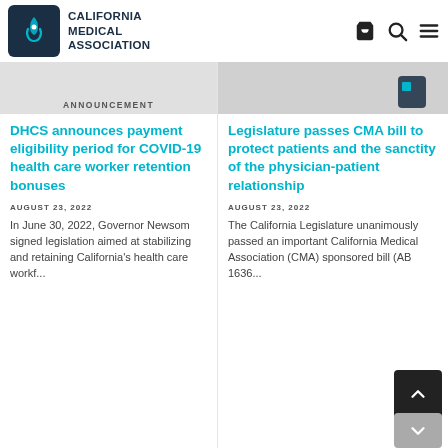California Medical Association
ANNOUNCEMENT
DHCS announces payment eligibility period for COVID-19 health care worker retention bonuses
AUGUST 23, 2022
In June 30, 2022, Governor Newsom signed legislation aimed at stabilizing and retaining California's health care workf...
Legislature passes CMA bill to protect patients and the sanctity of the physician-patient relationship
AUGUST 23, 2022
The California Legislature unanimously passed an important California Medical Association (CMA) sponsored bill (AB 1636...